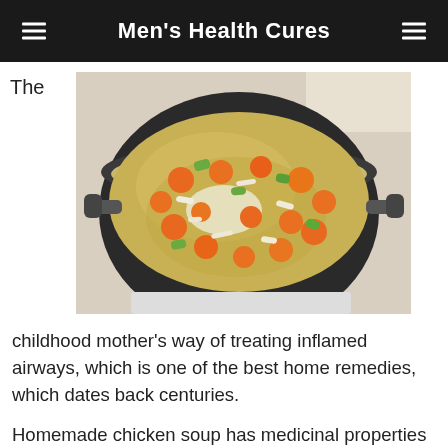Men's Health Cures
The
[Figure (photo): A black pot filled with homemade chicken soup containing carrots, celery, onions, and shredded chicken in a broth, sitting on a stovetop.]
childhood mother's way of treating inflamed airways, which is one of the best home remedies, which dates back centuries.
Homemade chicken soup has medicinal properties that soothing inflamed airways.  The hot soup is a great home remedy since it helps break up the